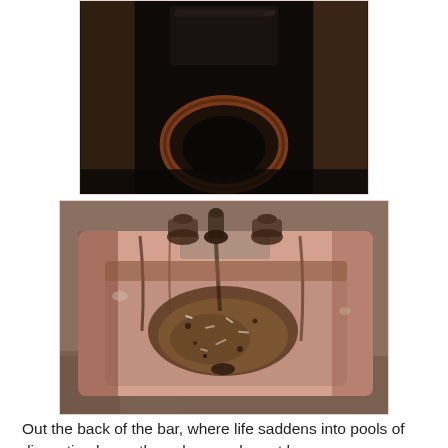[Figure (photo): Dark photograph of a filthy toilet interior viewed from above, showing the toilet bowl with a brownish-red seat in a dark wooden stall]
[Figure (photo): Photograph of an extremely dirty, heavily stained pink porcelain sink filled with debris, grime, and what appears to be cigarette butts and dirt, with rusted faucet fixtures, on a grimy floor]
Out the back of the bar, where life saddens into pools of disgusting hope, the only one who got here was